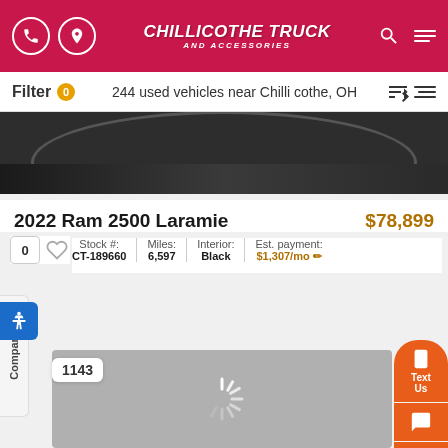CHILLICOTHE TRUCK AND ACCESSORIES
Filter 0   244 used vehicles near Chillicothe, OH
[Figure (photo): Partial photo of a dark-colored vehicle wheel/tire area against dark background]
2022 Ram 2500 Laramie   $78,899
Stock #: CT-189660 | Miles: 6,597 | Interior: Black | Est. payment: $1,307/mo
[Figure (photo): Loading placeholder (gray box with spinner) for second vehicle listing image]
1143